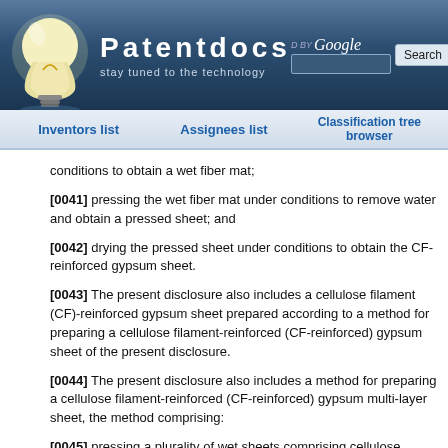[Figure (logo): Patentdocs website header with lightbulb logo, brand name, tagline 'stay tuned to the technology', and Google search box]
Inventors list | Assignees list | Classification tree browser
conditions to obtain a wet fiber mat;
[0041] pressing the wet fiber mat under conditions to remove water and obtain a pressed sheet; and
[0042] drying the pressed sheet under conditions to obtain the CF-reinforced gypsum sheet.
[0043] The present disclosure also includes a cellulose filament (CF)-reinforced gypsum sheet prepared according to a method for preparing a cellulose filament-reinforced (CF-reinforced) gypsum sheet of the present disclosure.
[0044] The present disclosure also includes a method for preparing a cellulose filament-reinforced (CF-reinforced) gypsum multi-layer sheet, the method comprising:
[0045] pressing a plurality of wet sheets comprising cellulose filaments and CaSO4.2H2O together under conditions to obtain a wet multi-layer mat;